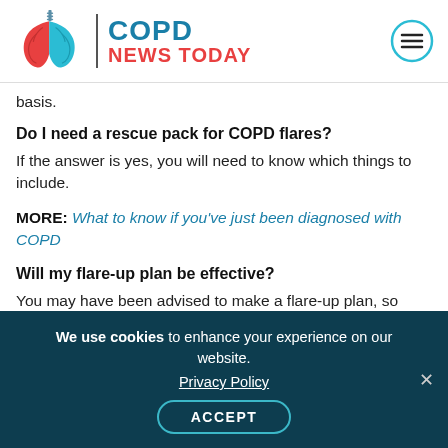[Figure (logo): COPD News Today logo with lungs illustration on left, divider bar, and brand text 'COPD NEWS TODAY' in blue and red, plus hamburger menu icon top right]
basis.
Do I need a rescue pack for COPD flares?
If the answer is yes, you will need to know which things to include.
MORE: What to know if you've just been diagnosed with COPD
Will my flare-up plan be effective?
You may have been advised to make a flare-up plan, so check with your healthcare team to ensure that it'll be effective and is workable and that you
We use cookies to enhance your experience on our website. Privacy Policy ACCEPT